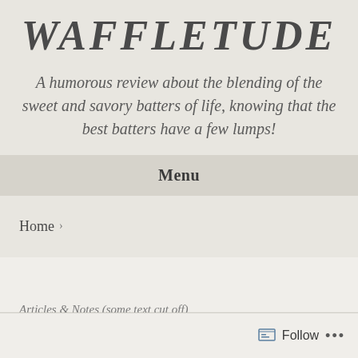WAFFLETUDE
A humorous review about the blending of the sweet and savory batters of life, knowing that the best batters have a few lumps!
Menu
Home >
Follow ...